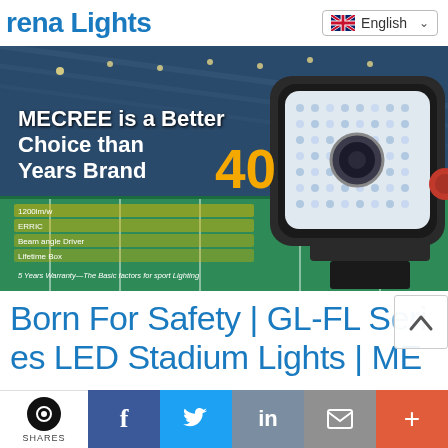rena Lights
[Figure (photo): LED stadium flood light (GL-FL Series) product photo on badminton court background. Text overlay reads: MECREE is a Better Choice than Years Brand 40. Spec rows list wattage, efficacy, beam angle, lifespan. Warranty text at bottom.]
Born For Safety | GL-FL Series LED Stadium Lights | ME
SHARES | f | Twitter | in | email | +